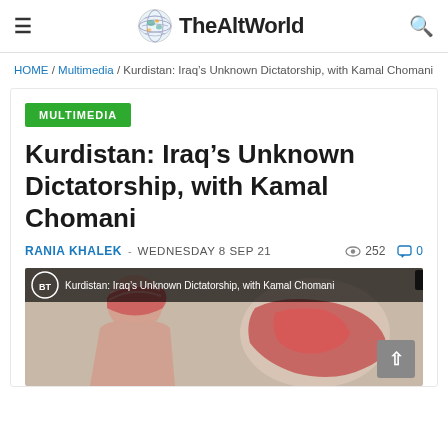TheAltWorld
HOME / Multimedia / Kurdistan: Iraq's Unknown Dictatorship, with Kamal Chomani
MULTIMEDIA
Kurdistan: Iraq's Unknown Dictatorship, with Kamal Chomani
RANIA KHALEK  -  WEDNESDAY 8 SEP 21   252  0
[Figure (screenshot): Video thumbnail showing a person wearing a traditional Kurdish headdress alongside a map, with text overlay reading 'Kurdistan: Iraq's Unknown Dictatorship, with Kamal Chomani' and BT logo visible.]